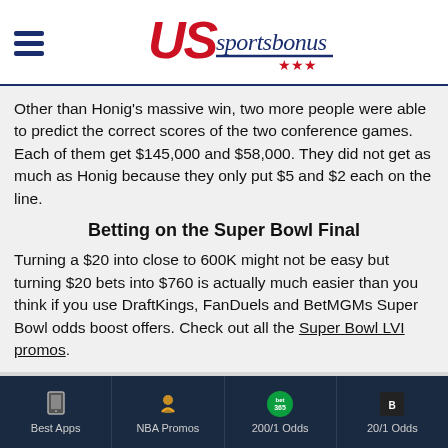US Sportsbonus (logo with hamburger menu)
Other than Honig's massive win, two more people were able to predict the correct scores of the two conference games. Each of them get $145,000 and $58,000. They did not get as much as Honig because they only put $5 and $2 each on the line.
Betting on the Super Bowl Final
Turning a $20 into close to 600K might not be easy but turning $20 bets into $760 is actually much easier than you think if you use DraftKings, FanDuels and BetMGMs Super Bowl odds boost offers. Check out all the Super Bowl LVI promos.
Best Apps | NBA Promos | 200/1 Odds | 20/1 Odds